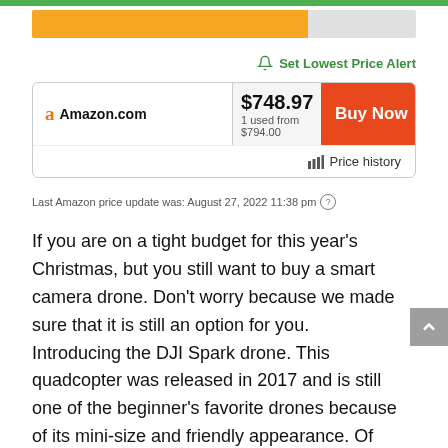[Figure (other): Progress bar showing partially filled orange bar on grey background]
Set Lowest Price Alert
| Retailer | Price | Action |
| --- | --- | --- |
| Amazon.com | $748.97
1 used from $794.00 | Buy Now |
Price history
Last Amazon price update was: August 27, 2022 11:38 pm
If you are on a tight budget for this year's Christmas, but you still want to buy a smart camera drone. Don't worry because we made sure that it is still an option for you. Introducing the DJI Spark drone. This quadcopter was released in 2017 and is still one of the beginner's favorite drones because of its mini-size and friendly appearance. Of course, the drones have been getting better with